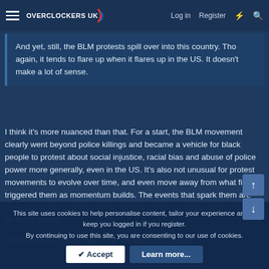OVERCLOCKERS UK | Log in | Register
And yet, still, the BLM protests spill over into this country. Tho again, it tends to flare up when it flares up in the US. It doesn't make a lot of sense.
I think it's more nuanced than that. For a start, the BLM movement clearly went beyond police killings and became a vehicle for black people to protest about social injustice, racial bias and abuse of police power more generally, even in the US. It's also not unusual for protest movements to evolve over time, and even move away from what first triggered them as momentum builds. The events that spark them are often just a way to bring similar minded people together rather than the de facto subject.
Appreciate our views may differ but that's my opinion.
This site uses cookies to help personalise content, tailor your experience and to keep you logged in if you register.
By continuing to use this site, you are consenting to our use of cookies.